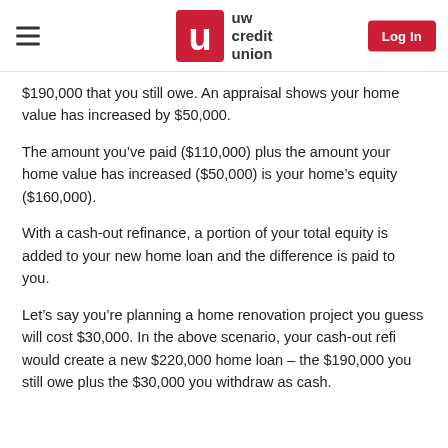uw credit union — Log In
$190,000 that you still owe. An appraisal shows your home value has increased by $50,000.
The amount you’ve paid ($110,000) plus the amount your home value has increased ($50,000) is your home’s equity ($160,000).
With a cash-out refinance, a portion of your total equity is added to your new home loan and the difference is paid to you.
Let’s say you’re planning a home renovation project you guess will cost $30,000. In the above scenario, your cash-out refi would create a new $220,000 home loan – the $190,000 you still owe plus the $30,000 you withdraw as cash.